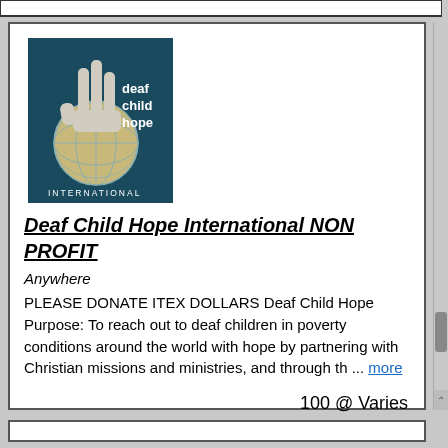[Figure (logo): Deaf Child Hope International logo — teal/dark blue background with a hand gesture and globe, text reads 'deaf child hope INTERNATIONAL']
Deaf Child Hope International NON PROFIT
Anywhere
PLEASE DONATE ITEX DOLLARS Deaf Child Hope Purpose: To reach out to deaf children in poverty conditions around the world with hope by partnering with Christian missions and ministries, and through th ... more
100 @ Varies